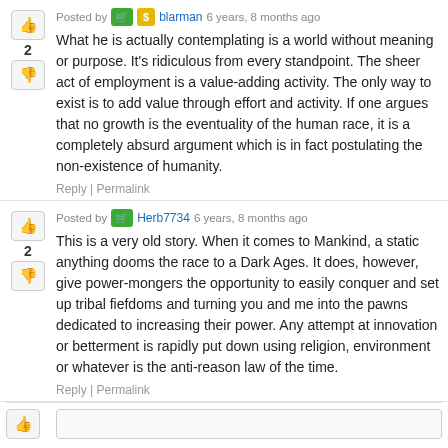Posted by blarman 6 years, 8 months ago
What he is actually contemplating is a world without meaning or purpose. It's ridiculous from every standpoint. The sheer act of employment is a value-adding activity. The only way to exist is to add value through effort and activity. If one argues that no growth is the eventuality of the human race, it is a completely absurd argument which is in fact postulating the non-existence of humanity.
Reply | Permalink
Posted by Herb7734 6 years, 8 months ago
This is a very old story. When it comes to Mankind, a static anything dooms the race to a Dark Ages. It does, however, give power-mongers the opportunity to easily conquer and set up tribal fiefdoms and turning you and me into the pawns dedicated to increasing their power. Any attempt at innovation or betterment is rapidly put down using religion, environment or whatever is the anti-reason law of the time.
Reply | Permalink